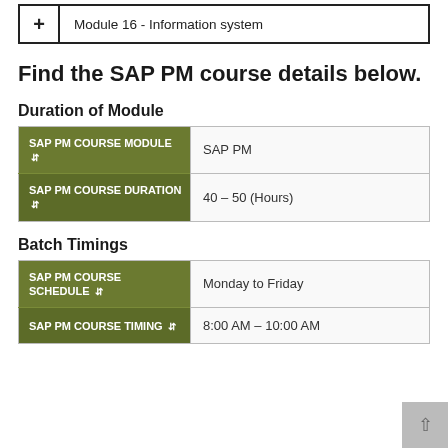+ Module 16 - Information system
Find the SAP PM course details below.
Duration of Module
| SAP PM COURSE MODULE | SAP PM COURSE DURATION |
| --- | --- |
| SAP PM |
| 40 – 50 (Hours) |
Batch Timings
| SAP PM COURSE SCHEDULE | SAP PM COURSE TIMING |
| --- | --- |
| Monday to Friday |
| 8:00 AM – 10:00 AM |